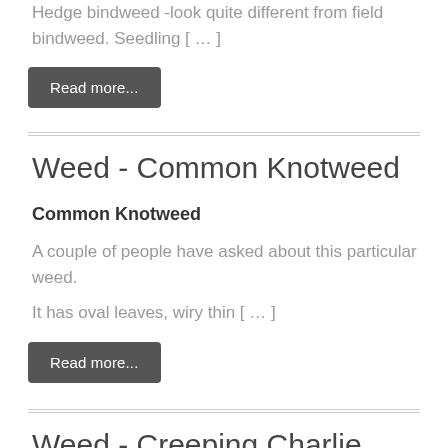Hedge bindweed -look quite different from field bindweed. Seedling [ … ]
Read more...
Weed - Common Knotweed
Common Knotweed
A couple of people have asked about this particular weed.
It has oval leaves, wiry thin [ … ]
Read more...
Weed - Creeping Charlie